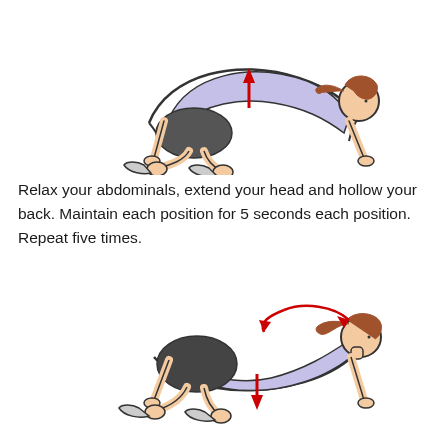[Figure (illustration): Person on all fours (cat-cow pose) with back arched upward (cat position), red upward arrow on lower back indicating the direction of movement. Figure drawn in outline style with person wearing dark shorts and light blue top with brown hair.]
Relax your abdominals, extend your head and hollow your back. Maintain each position for 5 seconds each position. Repeat five times.
[Figure (illustration): Person on all fours (cat-cow pose) with back hollowed/drooping downward (cow position), red downward arrow on lower back and a red curved arrow over the back/head indicating movement. Figure drawn in outline style with person wearing dark shorts and light blue top with brown hair in ponytail.]